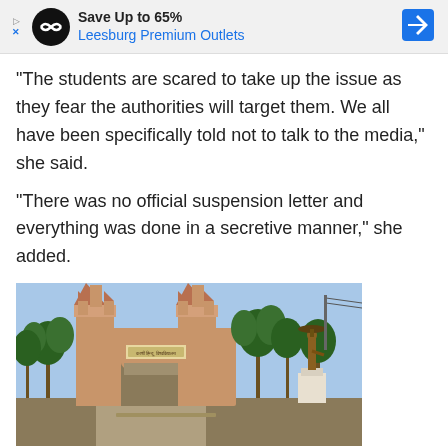[Figure (screenshot): Advertisement banner: Save Up to 65% Leesburg Premium Outlets with infinity logo and navigation arrow icon]
"The students are scared to take up the issue as they fear the authorities will target them. We all have been specifically told not to talk to the media," she said.
"There was no official suspension letter and everything was done in a secretive manner," she added.
[Figure (photo): Photograph of a university gate (likely Banaras Hindu University) with ornate sandstone arch gateway and a statue of a person on a pedestal to the right, palm trees in background, blue sky.]